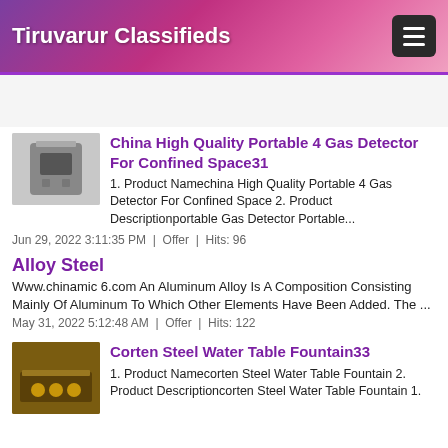Tiruvarur Classifieds
[Advertisement space]
China High Quality Portable 4 Gas Detector For Confined Space31
1. Product Namechina High Quality Portable 4 Gas Detector For Confined Space 2. Product Descriptionportable Gas Detector Portable...
Jun 29, 2022 3:11:35 PM  |  Offer  |  Hits: 96
Alloy Steel
Www.chinamic 6.com An Aluminum Alloy Is A Composition Consisting Mainly Of Aluminum To Which Other Elements Have Been Added. The ...
May 31, 2022 5:12:48 AM  |  Offer  |  Hits: 122
Corten Steel Water Table Fountain33
1. Product Namecorten Steel Water Table Fountain 2. Product Descriptioncorten Steel Water Table Fountain 1.